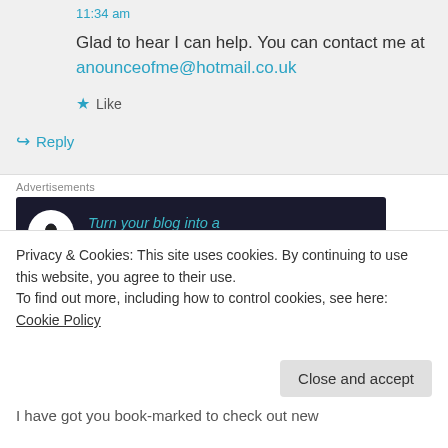11:34 am
Glad to hear I can help. You can contact me at anounceofme@hotmail.co.uk
★ Like
↪ Reply
Advertisements
[Figure (other): Advertisement banner: dark navy background with white circle icon showing a bonsai/person icon, teal italic text reading 'Turn your blog into a money-making online course.' with white right arrow]
REPORT THIS AD
Privacy & Cookies: This site uses cookies. By continuing to use this website, you agree to their use.
To find out more, including how to control cookies, see here: Cookie Policy
Close and accept
I have got you book-marked to check out new